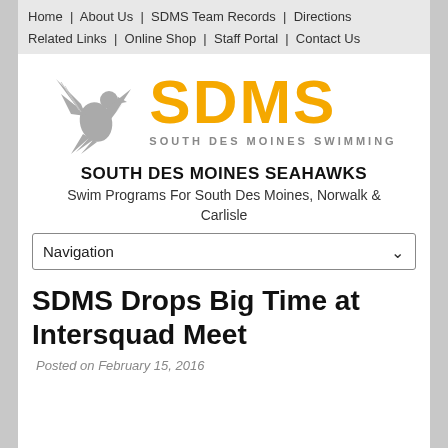Home | About Us | SDMS Team Records | Directions | Related Links | Online Shop | Staff Portal | Contact Us
[Figure (logo): SDMS South Des Moines Swimming logo with gray eagle and yellow SDMS text]
SOUTH DES MOINES SEAHAWKS
Swim Programs For South Des Moines, Norwalk & Carlisle
Navigation
SDMS Drops Big Time at Intersquad Meet
Posted on February 15, 2016